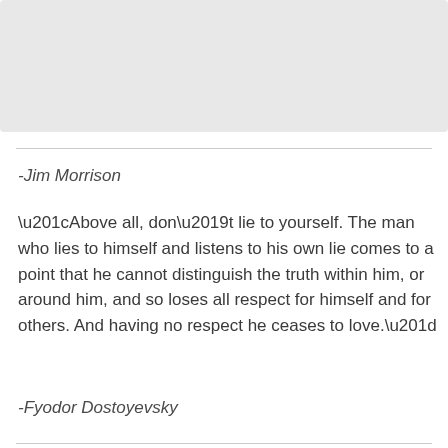[Figure (other): Gray placeholder box at top of page]
-Jim Morrison
“Above all, don’t lie to yourself. The man who lies to himself and listens to his own lie comes to a point that he cannot distinguish the truth within him, or around him, and so loses all respect for himself and for others. And having no respect he ceases to love.”
-Fyodor Dostoyevsky